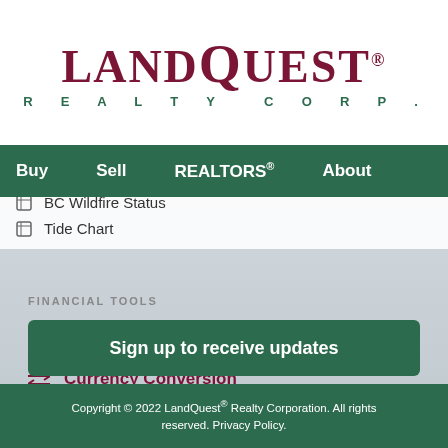[Figure (logo): LandQuest Realty Corp logo with dark red serif text and green subtitle]
Buy  Sell  REALTORS®  About
BC Wildfire Status
Tide Chart
FINANCIAL TOOLS
Mortgage Estimator
Currency Conversion
Landcor Data Corp
Sign up to receive updates
Copyright © 2022 LandQuest® Realty Corporation. All rights reserved. Privacy Policy.